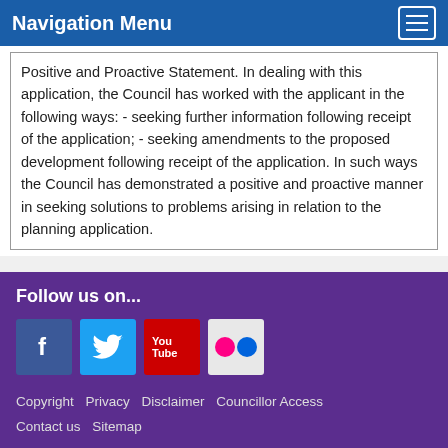Navigation Menu
Positive and Proactive Statement. In dealing with this application, the Council has worked with the applicant in the following ways: - seeking further information following receipt of the application; - seeking amendments to the proposed development following receipt of the application. In such ways the Council has demonstrated a positive and proactive manner in seeking solutions to problems arising in relation to the planning application.
Follow us on... Copyright  Privacy  Disclaimer  Councillor Access  Contact us  Sitemap  GOV.UK - For more Government Services and Information  Login